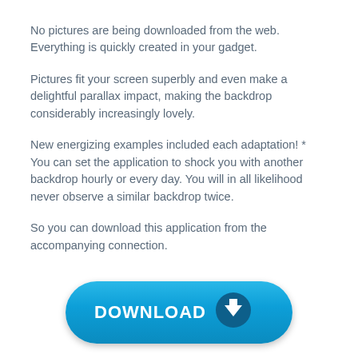No pictures are being downloaded from the web. Everything is quickly created in your gadget.
Pictures fit your screen superbly and even make a delightful parallax impact, making the backdrop considerably increasingly lovely.
New energizing examples included each adaptation! * You can set the application to shock you with another backdrop hourly or every day. You will in all likelihood never observe a similar backdrop twice.
So you can download this application from the accompanying connection.
[Figure (illustration): A blue rounded download button with white bold text 'DOWNLOAD' and a white downward arrow icon on a dark blue circular badge on the right side.]